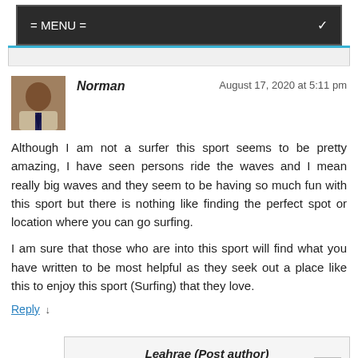= MENU =
Norman   August 17, 2020 at 5:11 pm
Although I am not a surfer this sport seems to be pretty amazing, I have seen persons ride the waves and I mean really big waves and they seem to be having so much fun with this sport but there is nothing like finding the perfect spot or location where you can go surfing.

I am sure that those who are into this sport will find what you have written to be most helpful as they seek out a place like this to enjoy this sport (Surfing) that they love.
Reply ↓
Leahrae (Post author)
September 14, 2020 at 6:20 pm